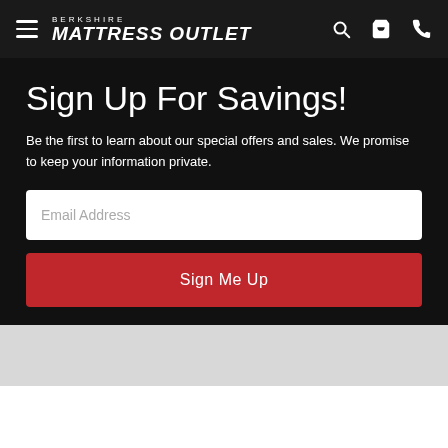Berkshire Mattress Outlet
Sign Up For Savings!
Be the first to learn about our special offers and sales. We promise to keep your information private.
Email Address
Sign Me Up